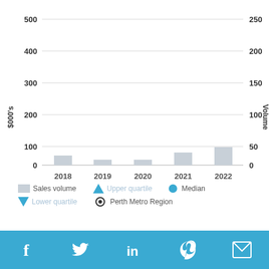[Figure (bar-chart): Bar chart showing sales volume by year 2018-2022 with quartile and median overlays. Left axis shows $000s (0-500), right axis shows Volume (0-250). All values appear near zero relative to the scale.]
Sales volume  Upper quartile  Median  Lower quartile  Perth Metro Region